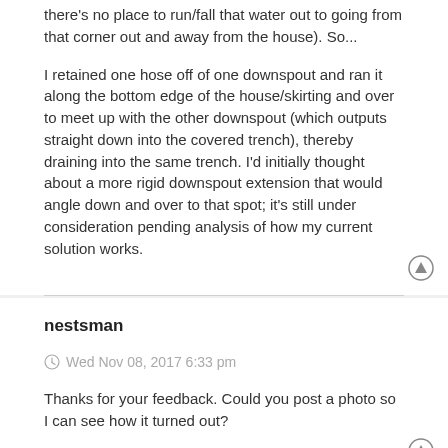there's no place to run/fall that water out to going from that corner out and away from the house). So...
I retained one hose off of one downspout and ran it along the bottom edge of the house/skirting and over to meet up with the other downspout (which outputs straight down into the covered trench), thereby draining into the same trench. I'd initially thought about a more rigid downspout extension that would angle down and over to that spot; it's still under consideration pending analysis of how my current solution works.
nestsman
Wed Nov 08, 2017 6:33 pm
Thanks for your feedback. Could you post a photo so I can see how it turned out?